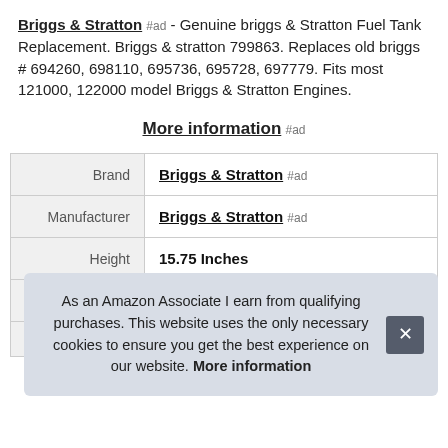Briggs & Stratton #ad - Genuine briggs & Stratton Fuel Tank Replacement. Briggs & stratton 799863. Replaces old briggs # 694260, 698110, 695736, 695728, 697779. Fits most 121000, 122000 model Briggs & Stratton Engines.
More information #ad
|  |  |
| --- | --- |
| Brand | Briggs & Stratton #ad |
| Manufacturer | Briggs & Stratton #ad |
| Height | 15.75 Inches |
| Length | 15.75 Inches |
| P |  |
As an Amazon Associate I earn from qualifying purchases. This website uses the only necessary cookies to ensure you get the best experience on our website. More information